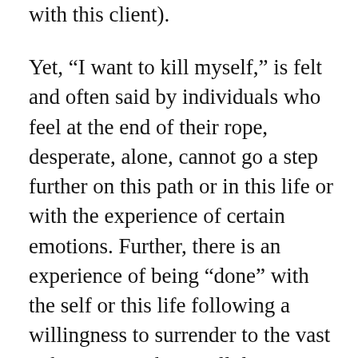with this client).
Yet, “I want to kill myself,” is felt and often said by individuals who feel at the end of their rope, desperate, alone, cannot go a step further on this path or in this life or with the experience of certain emotions. Further, there is an experience of being “done” with the self or this life following a willingness to surrender to the vast unknown. Looking still deeper, we remember the words of various meditation gurus/teachers who have embarked on the journey of regular meditation as a result of